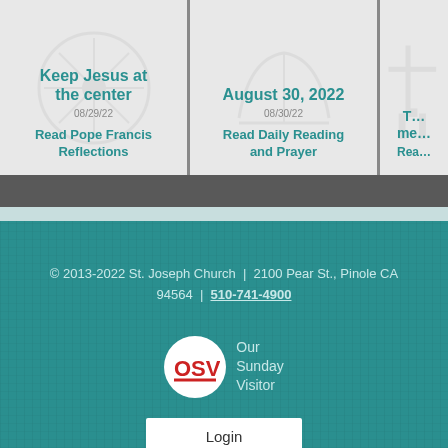Keep Jesus at the center
08/29/22
Read Pope Francis Reflections
August 30, 2022
08/30/22
Read Daily Reading and Prayer
T… me…
Rea…
© 2013-2022 St. Joseph Church  |  2100 Pear St., Pinole CA 94564  |  510-741-4900
[Figure (logo): OSV Our Sunday Visitor logo — circular white badge with OSV in red letters, beside text 'Our Sunday Visitor']
Login